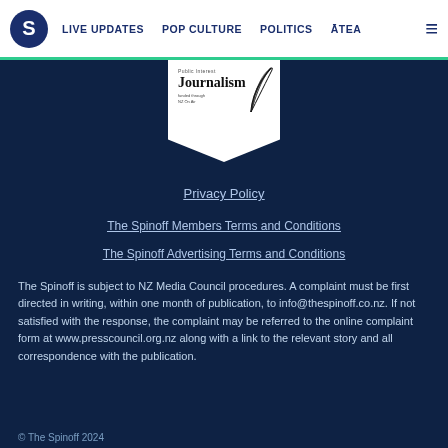S | LIVE UPDATES | POP CULTURE | POLITICS | ĀTEA | ☰
[Figure (logo): Public Interest Journalism badge with feather quill logo]
Privacy Policy
The Spinoff Members Terms and Conditions
The Spinoff Advertising Terms and Conditions
The Spinoff is subject to NZ Media Council procedures. A complaint must be first directed in writing, within one month of publication, to info@thespinoff.co.nz. If not satisfied with the response, the complaint may be referred to the online complaint form at www.presscouncil.org.nz along with a link to the relevant story and all correspondence with the publication.
© The Spinoff 2024